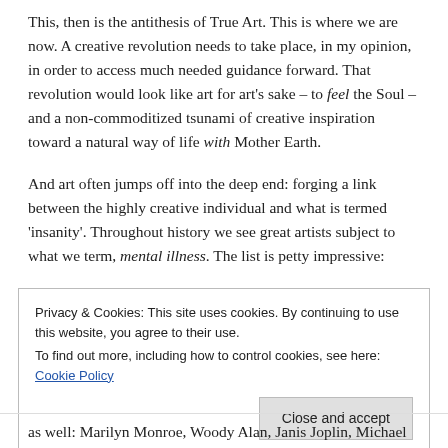This, then is the antithesis of True Art. This is where we are now. A creative revolution needs to take place, in my opinion, in order to access much needed guidance forward. That revolution would look like art for art's sake – to feel the Soul – and a non-commoditized tsunami of creative inspiration toward a natural way of life with Mother Earth.
And art often jumps off into the deep end: forging a link between the highly creative individual and what is termed 'insanity'. Throughout history we see great artists subject to what we term, mental illness. The list is petty impressive:
Privacy & Cookies: This site uses cookies. By continuing to use this website, you agree to their use.
To find out more, including how to control cookies, see here: Cookie Policy
as well: Marilyn Monroe, Woody Alan, Janis Joplin, Michael